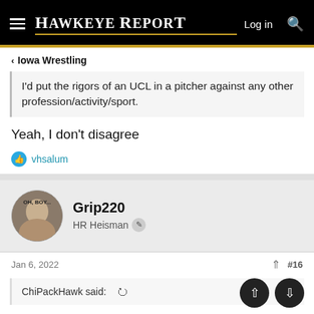Hawkeye Report — Log in
< Iowa Wrestling
I'd put the rigors of an UCL in a pitcher against any other profession/activity/sport.
Yeah, I don't disagree
vhsalum
Grip220
HR Heisman
Jan 6, 2022  #16
ChiPackHawk said: